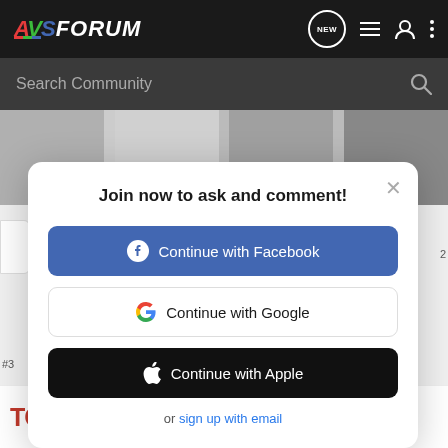AVSForum
Search Community
[Figure (screenshot): Background image strip showing audio/video equipment in grayscale]
Join now to ask and comment!
Continue with Facebook
Continue with Google
Continue with Apple
or sign up with email
from m
[Figure (other): TCL advertisement banner: LIVE LARGE. Big screens up to 98" SHOP NOW]